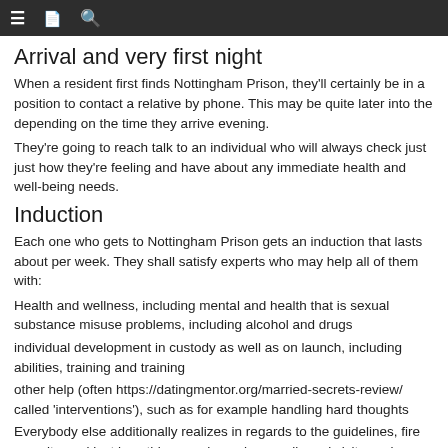≡  [icon]  🔍
Arrival and very first night
When a resident first finds Nottingham Prison, they'll certainly be in a position to contact a relative by phone. This may be quite later into the depending on the time they arrive evening.
They're going to reach talk to an individual who will always check just just how they're feeling and have about any immediate health and well-being needs.
Induction
Each one who gets to Nottingham Prison gets an induction that lasts about per week. They shall satisfy experts who may help all of them with:
Health and wellness, including mental and health that is sexual substance misuse problems, including alcohol and drugs
individual development in custody as well as on launch, including abilities, training and training
other help (often https://datingmentor.org/married-secrets-review/ called 'interventions'), such as for example handling hard thoughts
Everybody else additionally realizes in regards to the guidelines, fire security, and just how things such as phone calls and visits work.